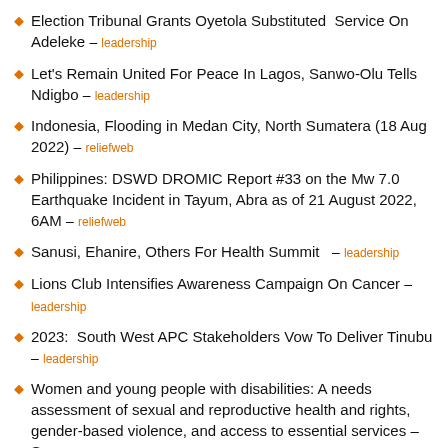Election Tribunal Grants Oyetola Substituted Service On Adeleke – leadership
Let's Remain United For Peace In Lagos, Sanwo-Olu Tells Ndigbo – leadership
Indonesia, Flooding in Medan City, North Sumatera (18 Aug 2022) – reliefweb
Philippines: DSWD DROMIC Report #33 on the Mw 7.0 Earthquake Incident in Tayum, Abra as of 21 August 2022, 6AM – reliefweb
Sanusi, Ehanire, Others For Health Summit – leadership
Lions Club Intensifies Awareness Campaign On Cancer – leadership
2023: South West APC Stakeholders Vow To Deliver Tinubu – leadership
Women and young people with disabilities: A needs assessment of sexual and reproductive health and rights, gender-based violence, and access to essential services – Samoa – reliefweb